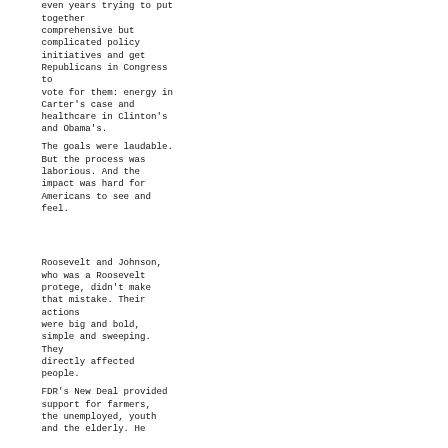even years trying to put together comprehensive but complicated policy initiatives and get Republicans in Congress to vote for them: energy in Carter's case and healthcare in Clinton's and Obama's.
The goals were laudable. But the process was laborious. And the impact was hard for Americans to see and feel.
Roosevelt and Johnson, who was a Roosevelt protege, didn't make that mistake. Their actions were big and bold, simple and sweeping. They directly affected people.
FDR's New Deal provided support for farmers, the unemployed, youth and the elderly. He